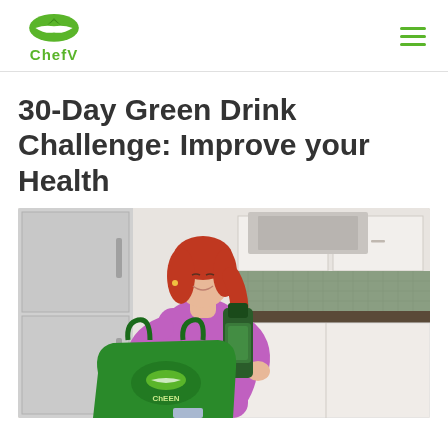ChefV
30-Day Green Drink Challenge: Improve your Health
[Figure (photo): A smiling woman with red hair wearing a purple turtleneck sweater, standing in a kitchen, holding and looking at a green drink bottle, with a green ChefV branded bag in the foreground. Kitchen appliances and white cabinets visible in the background.]